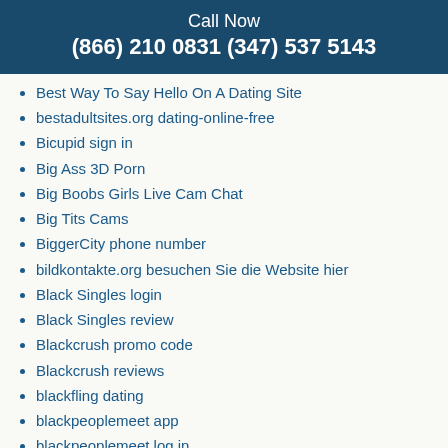Call Now
(866) 210 0831 (347) 537 5143
Best Way To Say Hello On A Dating Site
bestadultsites.org dating-online-free
Bicupid sign in
Big Ass 3D Porn
Big Boobs Girls Live Cam Chat
Big Tits Cams
BiggerCity phone number
bildkontakte.org besuchen Sie die Website hier
Black Singles login
Black Singles review
Blackcrush promo code
Blackcrush reviews
blackfling dating
blackpeoplemeet app
blackpeoplemeet log in
BlackPlanet review
Call Now
(866) 210 0831 (347) 537 5143